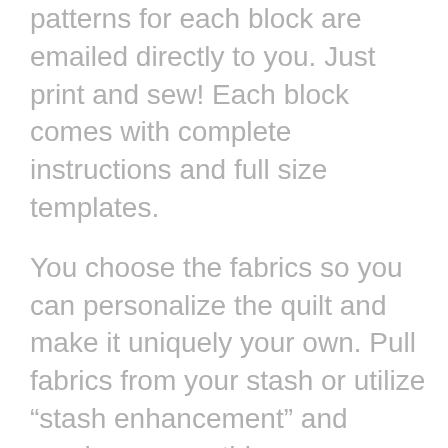patterns for each block are emailed directly to you. Just print and sew! Each block comes with complete instructions and full size templates.
You choose the fabrics so you can personalize the quilt and make it uniquely your own. Pull fabrics from your stash or utilize “stash enhancement” and purchase something new. Fabric requirements come with your first set of blocks.
A great mix of blocks and techniques make this the perfect galaxy of stars stitched